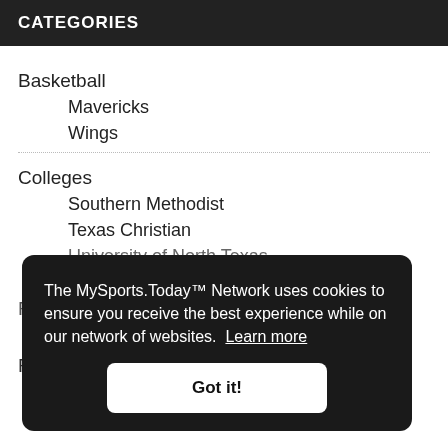CATEGORIES
Basketball
Mavericks
Wings
Colleges
Southern Methodist
Texas Christian
University of North Texas
University of Texas
Football
Cowboys
Rangers
The MySports.Today™ Network uses cookies to ensure you receive the best experience while on our network of websites. Learn more
Got it!